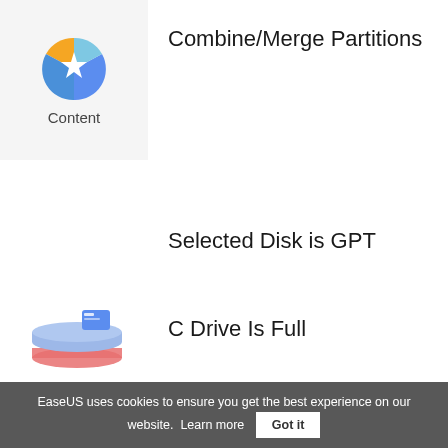[Figure (logo): EaseUS star logo with blue and yellow/orange colors, circular]
Content
Combine/Merge Partitions
Selected Disk is GPT
[Figure (illustration): Illustration of disk/drive with blue and red layers]
C Drive Is Full
Transfer Windows 11 to New Drive
EaseUS uses cookies to ensure you get the best experience on our website.  Learn more  Got it